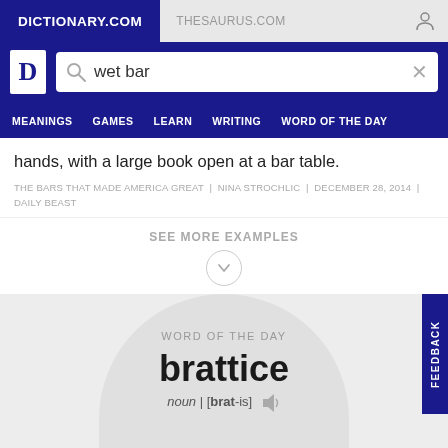DICTIONARY.COM | THESAURUS.COM
[Figure (screenshot): Dictionary.com website header with logo, search bar containing 'wet bar', and navigation menu with MEANINGS, GAMES, LEARN, WRITING, WORD OF THE DAY]
hands, with a large book open at a bar table.
THE BARS THAT MADE AMERICA GREAT | NINA STROCHLIC | DECEMBER 28, 2014 | DAILY BEAST
SEE MORE EXAMPLES
WORD OF THE DAY
brattice
noun | [brat-is]